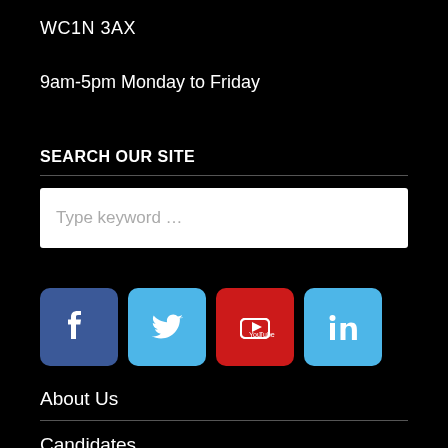WC1N 3AX
9am-5pm Monday to Friday
SEARCH OUR SITE
Type keyword …
[Figure (infographic): Social media icons: Facebook (blue), Twitter (light blue), YouTube (red), LinkedIn (light blue)]
About Us
Candidates
Contact